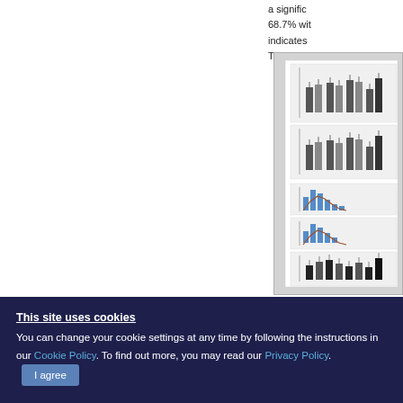a signific... 68.7% wit... indicates ... These res...
[Figure (infographic): A scientific figure panel showing multiple bar charts and distribution plots, partially visible at the right edge of the page. Contains grouped bar charts (dark grey/black bars) in upper rows and histogram/distribution plots in blue and brown in the middle rows, and more bar charts in the lower row.]
This site uses cookies
You can change your cookie settings at any time by following the instructions in our Cookie Policy. To find out more, you may read our Privacy Policy.